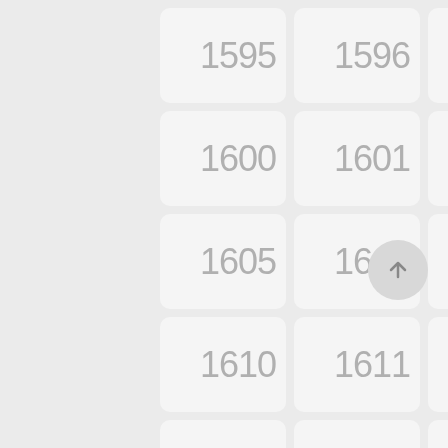[Figure (other): Grid of numbered cells from 1595 to 1649, displayed as rounded rectangle tiles with light gray numbers on white/light gray background. A circular scroll-to-top button with an upward arrow is visible at the bottom right.]